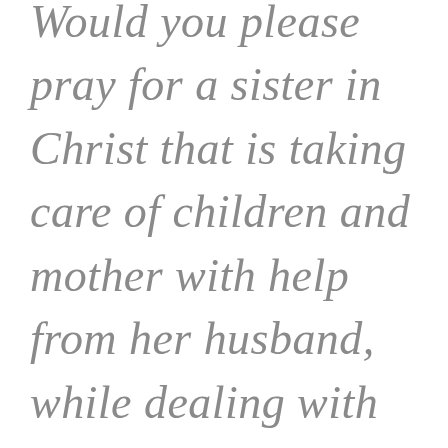Would you please pray for a sister in Christ that is taking care of children and mother with help from her husband, while dealing with abusive